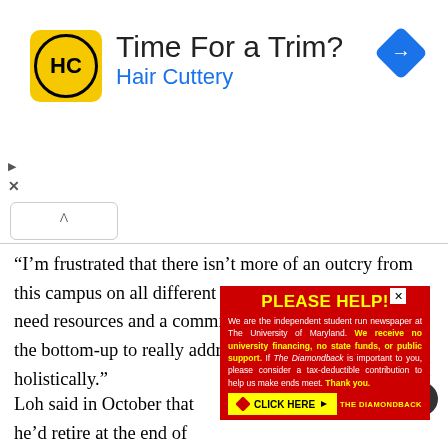[Figure (infographic): Advertisement banner for Hair Cuttery with logo, text 'Time For a Trim?' and 'Hair Cuttery' in blue, and a navigation arrow icon on the right]
“I’m frustrated that there isn’t more of an outcry from this campus on all different levels,” Prosser said. “We need resources and a commitment from the top-down to the bottom-up to really address these things holistically.”
Loh said in October that he’d retire at the end of this academic year, following separate investigations into the circumstances surrounding the death of football player Jordan McNair and another into th… nmittee determined the… ially enabled by administrat… he’d sta…n another year – … s.
[Figure (infographic): Overlay fundraising ad from The Diamondback: 'PLEASE HELP! We are the independent student run newspaper at The University of Maryland. We receive no university financing, no state funds, or public support. If The Diamondback is important to you, please consider a tax-deductible contribution to help us make ends meet. Thank you.' with a CLICK HERE button and The Diamondback logo]